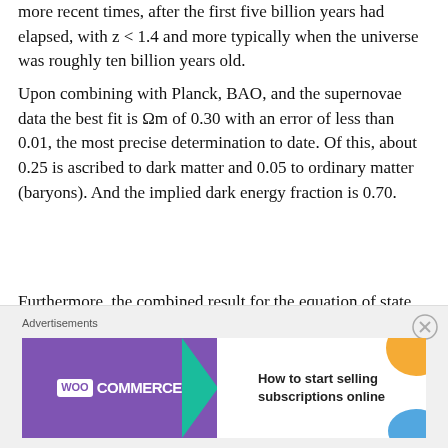more recent times, after the first five billion years had elapsed, with z < 1.4 and more typically when the universe was roughly ten billion years old.
Upon combining with Planck, BAO, and the supernovae data the best fit is Ωm of 0.30 with an error of less than 0.01, the most precise determination to date. Of this, about 0.25 is ascribed to dark matter and 0.05 to ordinary matter (baryons). And the implied dark energy fraction is 0.70.
Furthermore, the combined result for the equation of state parameter is precisely w = -1.00 with only one percent uncertainty.
[Figure (other): WooCommerce advertisement banner: 'How to start selling subscriptions online']